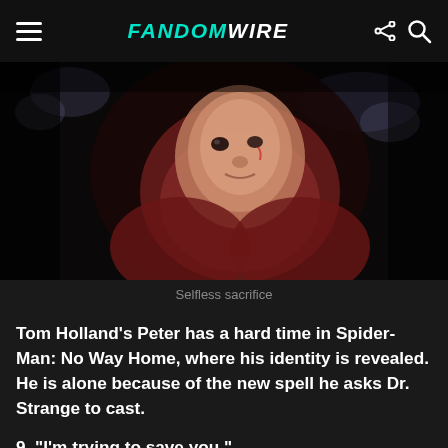FandomWire
[Figure (photo): Close-up of Tom Holland as Spider-Man (Peter Parker) looking up, face partially revealed with the Spider-Man mask pulled back, in a dark scene from Spider-Man: No Way Home.]
Selfless sacrifice
Tom Holland’s Peter has a hard time in Spider-Man: No Way Home, where his identity is revealed. He is alone because of the new spell he asks Dr. Strange to cast.
9. “I’m trying to save you.”